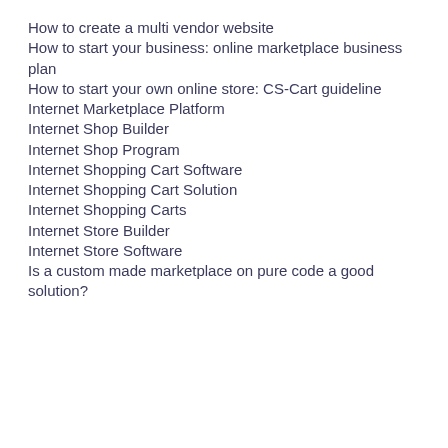How to create a multi vendor website
How to start your business: online marketplace business plan
How to start your own online store: CS-Cart guideline
Internet Marketplace Platform
Internet Shop Builder
Internet Shop Program
Internet Shopping Cart Software
Internet Shopping Cart Solution
Internet Shopping Carts
Internet Store Builder
Internet Store Software
Is a custom made marketplace on pure code a good solution?